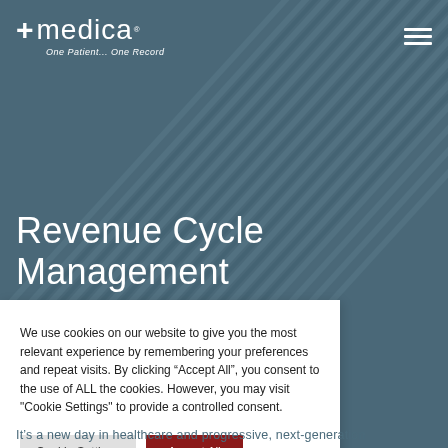[Figure (screenshot): 4medica logo with cross symbol and tagline 'One Patient... One Record' on dark teal/grey background with radiating line texture]
Revenue Cycle Management
We use cookies on our website to give you the most relevant experience by remembering your preferences and repeat visits. By clicking “Accept All”, you consent to the use of ALL the cookies. However, you may visit "Cookie Settings" to provide a controlled consent.
It's a new day in healthcare and progressive, next-generation